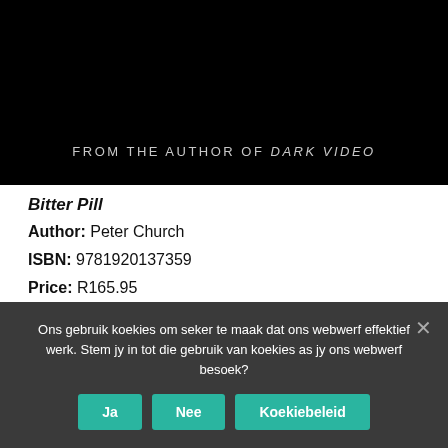[Figure (photo): Book cover image with black background showing text 'FROM THE AUTHOR OF DARK VIDEO']
Bitter Pill
Author: Peter Church
ISBN: 9781920137359
Price: R165.95
Click here to buy a copy from Kalahari.net.
The Pick-up
Ons gebruik koekies om seker te maak dat ons webwerf effektief werk. Stem jy in tot die gebruik van koekies as jy ons webwerf besoek?